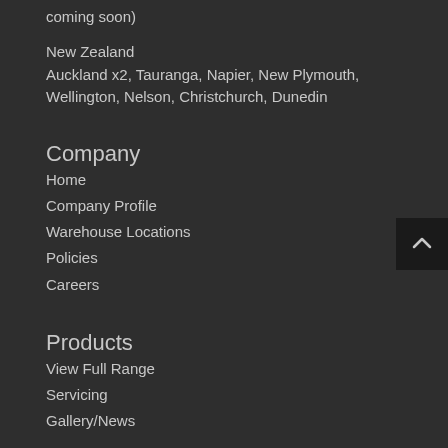coming soon)
New Zealand
Auckland x2, Tauranga, Napier, New Plymouth, Wellington, Nelson, Christchurch, Dunedin
Company
Home
Company Profile
Warehouse Locations
Policies
Careers
Products
View Full Range
Servicing
Gallery/News